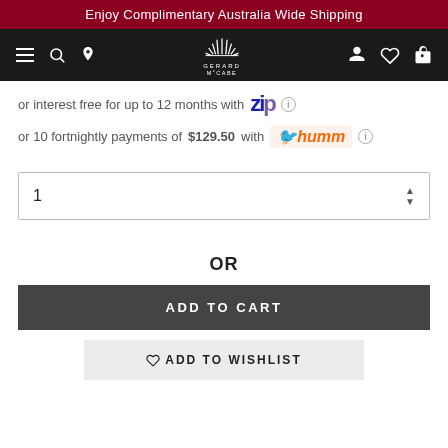Enjoy Complimentary Australia Wide Shipping
[Figure (screenshot): Gerard McCabe jewellery store navigation bar with hamburger menu, search, location icons on left; Gerard McCabe logo in center; user, wishlist, cart icons on right]
or interest free for up to 12 months with Zip
or 10 fortnightly payments of $129.50 with humm
1
OR
ADD TO CART
ADD TO WISHLIST